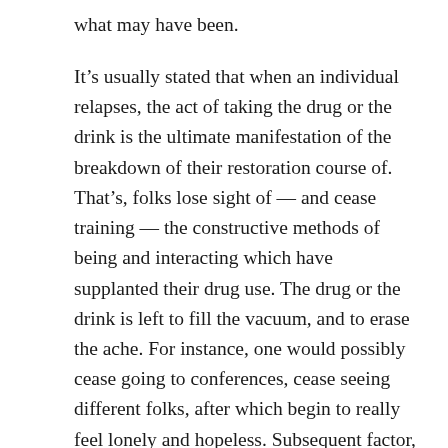what may have been.
It’s usually stated that when an individual relapses, the act of taking the drug or the drink is the ultimate manifestation of the breakdown of their restoration course of. That’s, folks lose sight of — and cease training — the constructive methods of being and interacting which have supplanted their drug use. The drug or the drink is left to fill the vacuum, and to erase the ache. For instance, one would possibly cease going to conferences, cease seeing different folks, after which begin to really feel lonely and hopeless. Subsequent factor, they’re reaching for a repair. Or they may fall out of their train routine and, as a